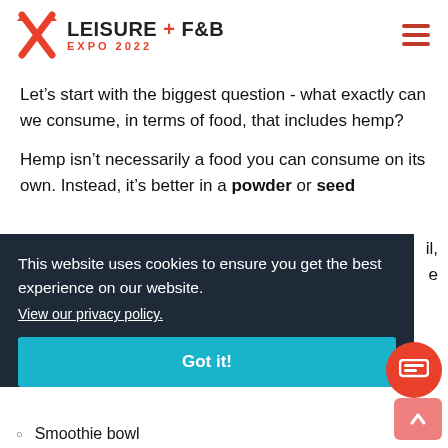[Figure (logo): Leisure F&B Expo 2022 logo with crossed pen/pencil icon in red and black text]
Let’s start with the biggest question - what exactly can we consume, in terms of food, that includes hemp?
Hemp isn’t necessarily a food you can consume on its own. Instead, it’s better in a powder or seed
This website uses cookies to ensure you get the best experience on our website.
View our privacy policy.
Got it!
Smoothie bowl